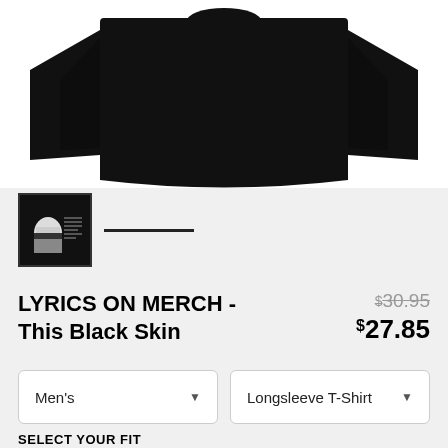[Figure (photo): Black long-sleeve t-shirt product photo on white background, showing front view with arms outstretched]
[Figure (photo): Small thumbnail image of the product showing a design with a helmet/skull graphic on dark background]
LYRICS ON MERCH - This Black Skin
$30.95 $27.85
Men's
Longsleeve T-Shirt
SELECT YOUR FIT